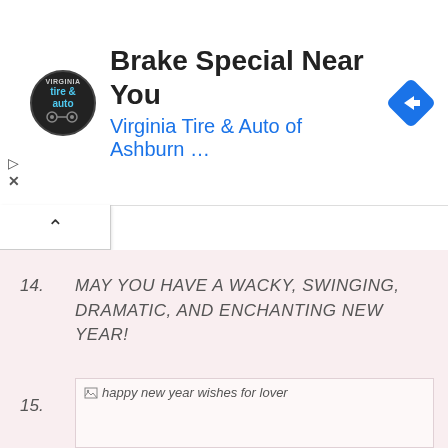[Figure (screenshot): Advertisement banner for Virginia Tire & Auto of Ashburn with logo, title 'Brake Special Near You', subtitle 'Virginia Tire & Auto of Ashburn ...', blue navigation arrow icon, play and close controls]
14.   MAY YOU HAVE A WACKY, SWINGING, DRAMATIC, AND ENCHANTING NEW YEAR!
15.   TO A YEAR OF NEW HOPE, NEW EXPLOITS, NEW YOU, NEW SHOES! WISHING YOU ALL THE LUCK IN THE WORLD IN THE NEW YEAR.
[Figure (photo): Image placeholder labeled 'happy new year wishes for lover']